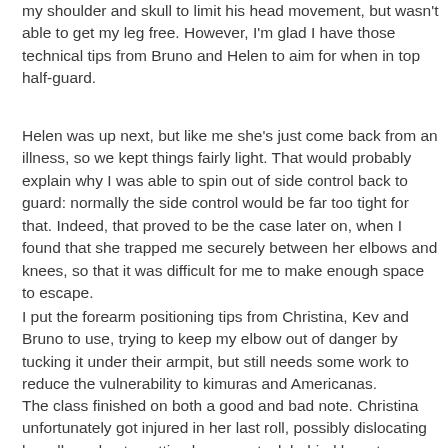my shoulder and skull to limit his head movement, but wasn't able to get my leg free. However, I'm glad I have those technical tips from Bruno and Helen to aim for when in top half-guard.
Helen was up next, but like me she's just come back from an illness, so we kept things fairly light. That would probably explain why I was able to spin out of side control back to guard: normally the side control would be far too tight for that. Indeed, that proved to be the case later on, when I found that she trapped me securely between her elbows and knees, so that it was difficult for me to make enough space to escape.
I put the forearm positioning tips from Christina, Kev and Bruno to use, trying to keep my elbow out of danger by tucking it under their armpit, but still needs some work to reduce the vulnerability to kimuras and Americanas.
The class finished on both a good and bad note. Christina unfortunately got injured in her last roll, possibly dislocating her elbow due to getting her arm stuck behind her at an